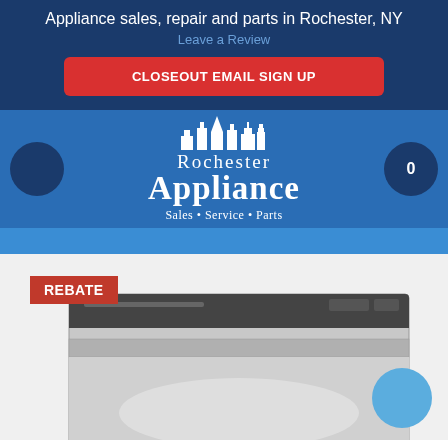Appliance sales, repair and parts in Rochester, NY
Leave a Review
CLOSEOUT EMAIL SIGN UP
[Figure (logo): Rochester Appliance logo with skyline silhouette icons, text 'Rochester Appliance Sales · Service · Parts' on blue background]
[Figure (photo): Stainless steel dishwasher product photo with a red REBATE badge in the top-left corner]